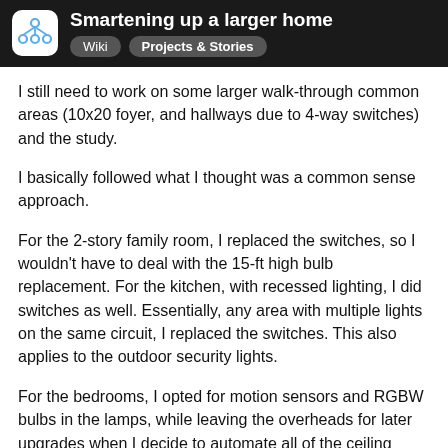Smartening up a larger home | Wiki | Projects & Stories
I still need to work on some larger walk-through common areas (10x20 foyer, and hallways due to 4-way switches) and the study.
I basically followed what I thought was a common sense approach.
For the 2-story family room, I replaced the switches, so I wouldn't have to deal with the 15-ft high bulb replacement. For the kitchen, with recessed lighting, I did switches as well. Essentially, any area with multiple lights on the same circuit, I replaced the switches. This also applies to the outdoor security lights.
For the bedrooms, I opted for motion sensors and RGBW bulbs in the lamps, while leaving the overheads for later upgrades when I decide to automate all of the ceiling fans. This allowed me to automate the lighting on motion change the color temperature and dimming of day, and use a color (red) for a night ligh
8 / 9